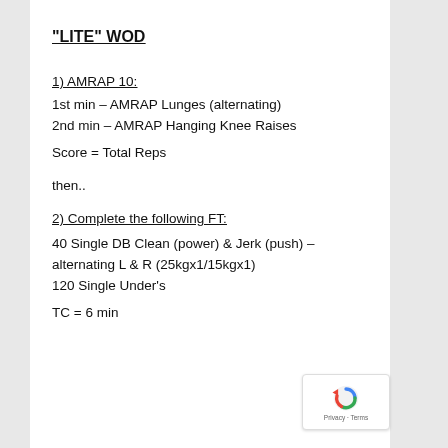"LITE" WOD
1) AMRAP 10:
1st min – AMRAP Lunges (alternating)
2nd min – AMRAP Hanging Knee Raises
Score = Total Reps
then..
2) Complete the following FT:
40 Single DB Clean (power) & Jerk (push) – alternating L & R (25kgx1/15kgx1)
120 Single Under's
TC = 6 min